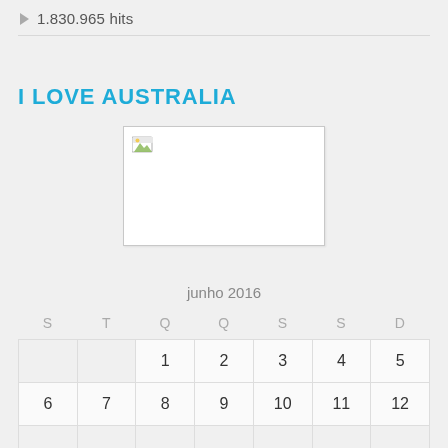1.830.965 hits
I LOVE AUSTRALIA
[Figure (photo): Broken/placeholder image thumbnail]
| S | T | Q | Q | S | S | D |
| --- | --- | --- | --- | --- | --- | --- |
|  |  | 1 | 2 | 3 | 4 | 5 |
| 6 | 7 | 8 | 9 | 10 | 11 | 12 |
|  |  |  |  |  |  |  |